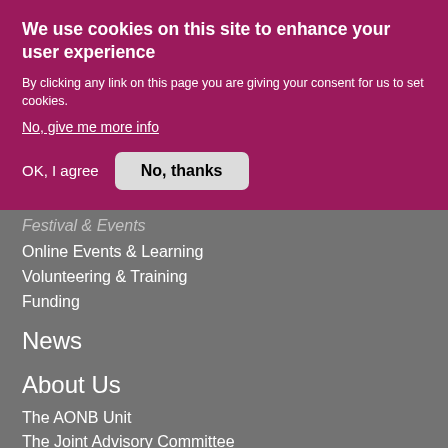We use cookies on this site to enhance your user experience
By clicking any link on this page you are giving your consent for us to set cookies.
No, give me more info
OK, I agree
No, thanks
Festival & Events
Online Events & Learning
Volunteering & Training
Funding
News
About Us
The AONB Unit
The Joint Advisory Committee
Plans, Strategies & Reports
Privacy Notice
Social Media House Rules